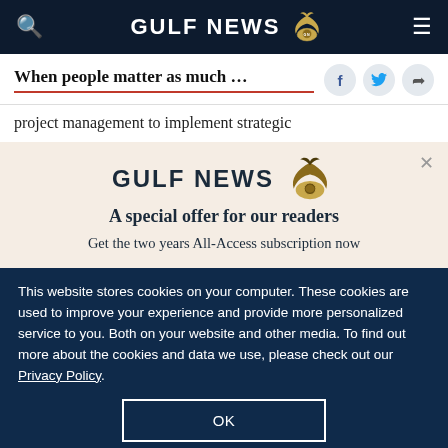GULF NEWS
When people matter as much …
project management to implement strategic
[Figure (other): Gulf News subscription promotional overlay with eagle logo, headline 'A special offer for our readers', and text 'Get the two years All-Access subscription now']
This website stores cookies on your computer. These cookies are used to improve your experience and provide more personalized service to you. Both on your website and other media. To find out more about the cookies and data we use, please check out our Privacy Policy.
OK